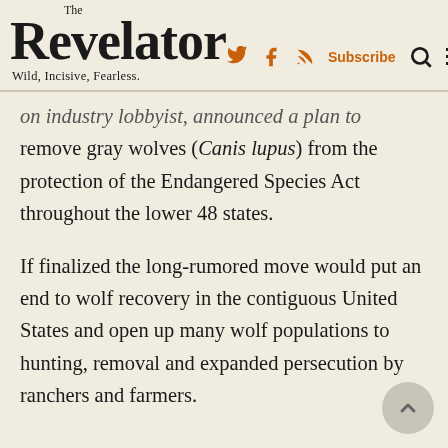The Revelator — Wild, Incisive, Fearless.
on industry lobbyist, announced a plan to remove gray wolves (Canis lupus) from the protection of the Endangered Species Act throughout the lower 48 states.
If finalized the long-rumored move would put an end to wolf recovery in the contiguous United States and open up many wolf populations to hunting, removal and expanded persecution by ranchers and farmers.